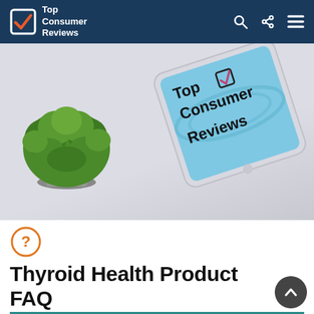Top Consumer Reviews
[Figure (photo): Hero image showing a green potted plant on the left and a tilted tablet displaying the Top Consumer Reviews logo on a blue background, both on a light gray/white surface.]
[Figure (illustration): Orange circle with a question mark icon]
Thyroid Health Product FAQ